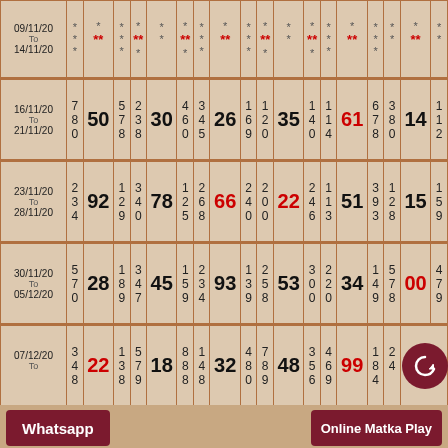| Date |  |  |  |  |  |  |  |  |  |  |  |  |  |  |  |  |
| --- | --- | --- | --- | --- | --- | --- | --- | --- | --- | --- | --- | --- | --- | --- | --- | --- |
| 09/11/20 To 14/11/20 | * | ** | * | * |  | ** | * | * |  | ** | * | * |  | ** | * | * |  | ** | * |
| 16/11/20 To 21/11/20 | 7 8 0 | 50 | 5 7 8 | 2 3 8 | 30 | 4 6 0 | 3 4 5 | 26 | 1 9 | 1 2 0 | 35 | 1 4 0 | 1 1 4 | 61 | 6 7 8 | 3 8 0 | 14 | 1 1 2 |
| 23/11/20 To 28/11/20 | 2 3 4 | 92 | 1 2 9 | 3 4 0 | 78 | 1 2 5 | 2 6 8 | 66 | 2 4 0 | 2 0 0 | 22 | 2 4 6 | 1 1 3 | 51 | 3 9 3 | 1 2 8 | 15 | 1 5 9 |
| 30/11/20 To 05/12/20 | 5 7 0 | 28 | 1 8 9 | 3 4 7 | 45 | 1 9 7 | 2 3 4 | 93 | 1 3 9 | 2 5 8 | 53 | 3 0 0 | 2 0 9 | 34 | 1 4 9 | 5 7 8 | 00 | 4 7 9 |
| 07/12/20 To ... | 3 4 8 | 22 | 1 3 9 | 5 7 9 | 18 | 8 8 8 | 1 4 8 | 32 | 4 8 0 | 7 8 9 | 48 | 3 5 6 | 4 6 9 | 99 | 1 8 4 | 2 4 ... | ... | ... |
Whatsapp
Online Matka Play